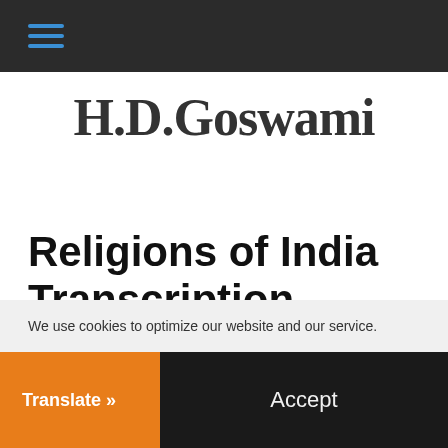≡ (hamburger menu icon)
H.D.Goswami
Religions of India Transcription
We use cookies to optimize our website and our service.
Translate »
Accept